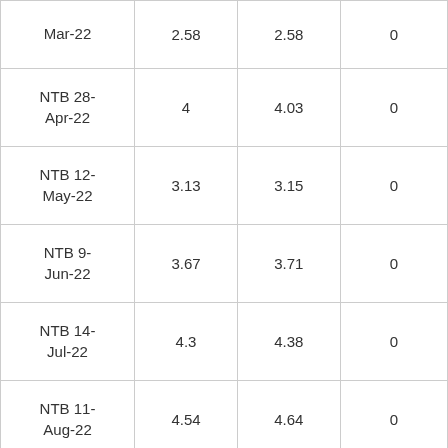| Mar-22 | 2.58 | 2.58 | 0 |
| NTB 28-Apr-22 | 4 | 4.03 | 0 |
| NTB 12-May-22 | 3.13 | 3.15 | 0 |
| NTB 9-Jun-22 | 3.67 | 3.71 | 0 |
| NTB 14-Jul-22 | 4.3 | 4.38 | 0 |
| NTB 11-Aug-22 | 4.54 | 4.64 | 0 |
| NTB 8- |  |  |  |